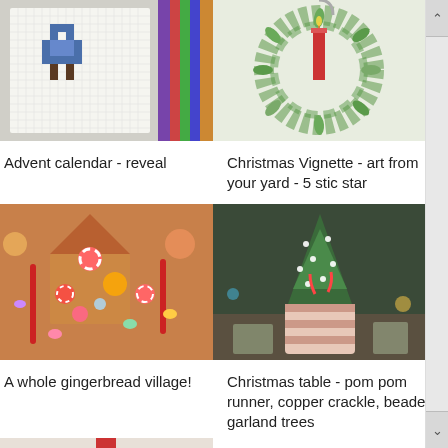[Figure (photo): Cross-stitch or needlepoint pixel art of a blue figure on white canvas with colorful threads in background]
[Figure (photo): Christmas wreath with green leaves and a red candle on white background]
Advent calendar - reveal
Christmas Vignette - art from your yard - 5 stic star
[Figure (photo): A whole gingerbread village with candy decorations, peppermint swirls, gumdrops, and red licorice]
A whole gingerbread village!
[Figure (photo): Christmas table with small decorated tree in striped pot with candy canes and string lights, on dark table]
Christmas table - pom pom runner, copper crackle, beaded garland trees
[Figure (photo): Partial bottom image showing red candle on white background]